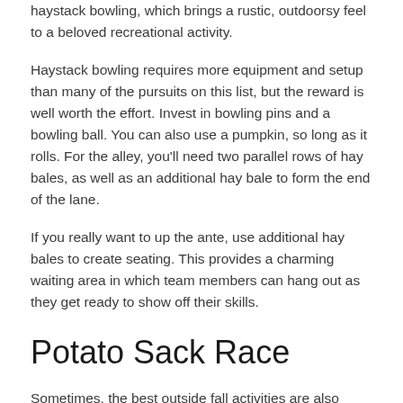haystack bowling, which brings a rustic, outdoorsy feel to a beloved recreational activity.
Haystack bowling requires more equipment and setup than many of the pursuits on this list, but the reward is well worth the effort. Invest in bowling pins and a bowling ball. You can also use a pumpkin, so long as it rolls. For the alley, you'll need two parallel rows of hay bales, as well as an additional hay bale to form the end of the lane.
If you really want to up the ante, use additional hay bales to create seating. This provides a charming waiting area in which team members can hang out as they get ready to show off their skills.
Potato Sack Race
Sometimes, the best outside fall activities are also